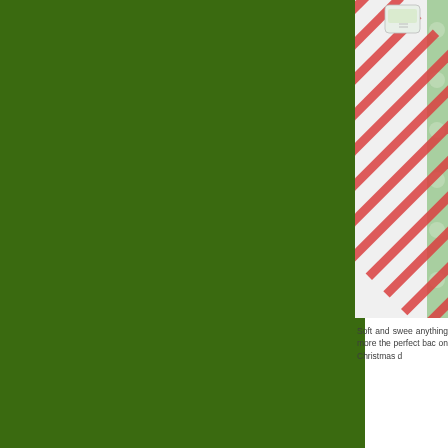[Figure (photo): Large dark green background block occupying the left two-thirds of the page]
[Figure (photo): Christmas gift wrapping paper with red and white diagonal candy-cane stripes, and a smaller green floral/snowflake patterned paper visible behind it, with a small label tag on top]
Soft and swee anything more the perfect bac on Christmas d